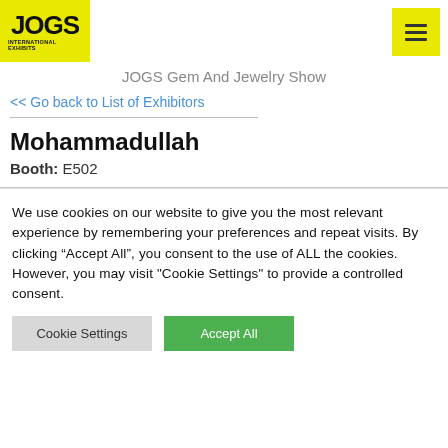[Figure (logo): JOGS International Exhibits logo on yellow background]
[Figure (other): Hamburger menu icon on yellow background]
JOGS Gem And Jewelry Show
<< Go back to List of Exhibitors
Mohammadullah
Booth: E502
We use cookies on our website to give you the most relevant experience by remembering your preferences and repeat visits. By clicking "Accept All", you consent to the use of ALL the cookies. However, you may visit "Cookie Settings" to provide a controlled consent.
Cookie Settings
Accept All